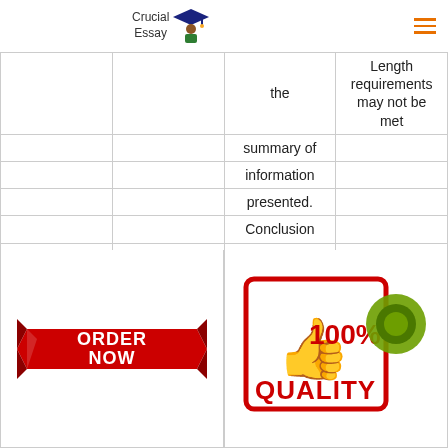Crucial Essay
|  |  | Content | Length requirements may not be met |
| --- | --- | --- | --- |
|  |  | the | Length requirements may not be met |
|  |  | summary of |  |
|  |  | information |  |
|  |  | presented. |  |
|  |  | Conclusion |  |
|  |  | does not |  |
|  |  | contain a |  |
|  |  | biblical |  |
|  |  | integration. |  |
|  |  |  |  |
[Figure (illustration): Red ORDER NOW button banner]
[Figure (illustration): 100% Quality stamp with thumbs up and green circle]